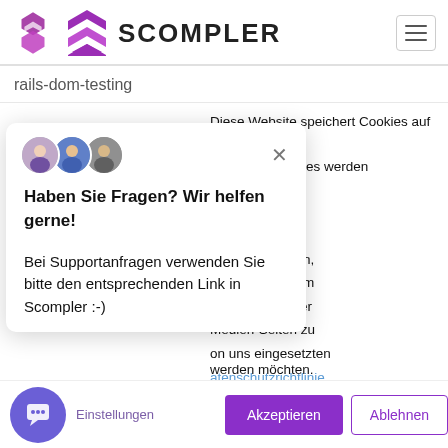[Figure (logo): Scompler logo: stylized S icon in purple/magenta with text SCOMPLER in bold black]
rails-dom-testing
Diese Website speichert Cookies auf Ihrem Com... se Cookies werden verwendet, um on mit unserer wir uns an Sie se Informationen, ptimieren und um unsere Besucher Medien-Seiten zu on uns eingesetzten atenschutzrichtlinie.
Haben Sie Fragen? Wir helfen gerne!

Bei Supportanfragen verwenden Sie bitte den entsprechenden Link in Scompler :-)
werden möchten.
Einstellungen
Akzeptieren
Ablehnen